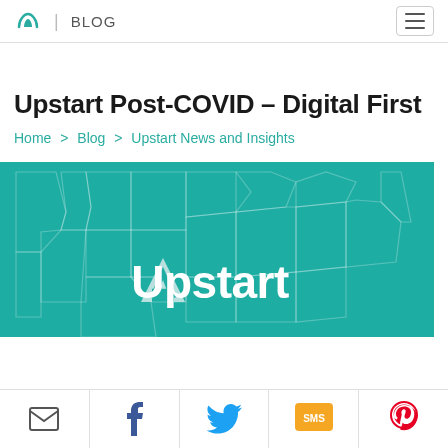Upstart | BLOG
Upstart Post-COVID – Digital First
Home > Blog > Upstart News and Insights
[Figure (illustration): Upstart logo in white on teal background with faint US map outline]
Email | Facebook | Twitter | SMS | Pinterest social share buttons